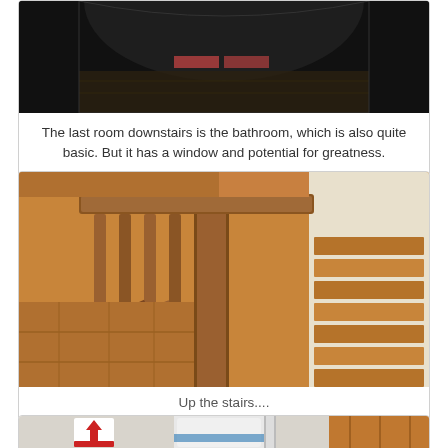[Figure (photo): Dark corridor/room view from above, showing worn floor and a small window with light]
The last room downstairs is the bathroom, which is also quite basic. But it has a window and potential for greatness.
[Figure (photo): Wooden staircase viewed from above, showing spindles, banister, and wooden steps]
Up the stairs....
[Figure (photo): Utility room with fire extinguisher sign and a white water tank/cylinder]